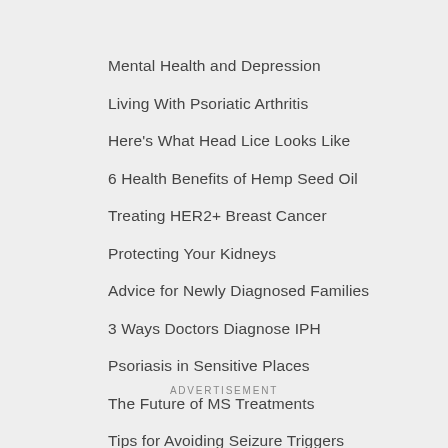Mental Health and Depression
Living With Psoriatic Arthritis
Here's What Head Lice Looks Like
6 Health Benefits of Hemp Seed Oil
Treating HER2+ Breast Cancer
Protecting Your Kidneys
Advice for Newly Diagnosed Families
3 Ways Doctors Diagnose IPH
Psoriasis in Sensitive Places
The Future of MS Treatments
Tips for Avoiding Seizure Triggers
Can Exercise Help Myasthenia Gravis
ADVERTISEMENT